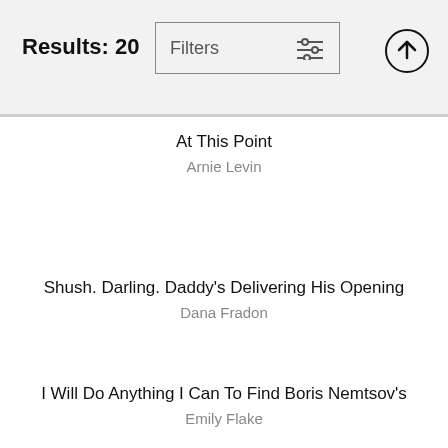Results: 20
At This Point
Arnie Levin
Shush. Darling. Daddy's Delivering His Opening
Dana Fradon
I Will Do Anything I Can To Find Boris Nemtsov's
Emily Flake